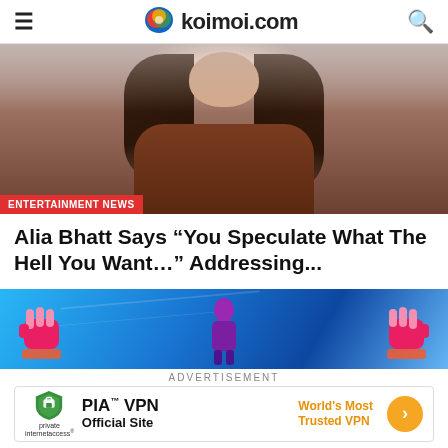koimoi.com
[Figure (photo): Woman with long dark wavy hair wearing a brown top, upper body/face shot against a light gray background. Red badge overlay reads ENTERTAINMENT NEWS.]
Alia Bhatt Says “You Speculate What The Hell You Want…” Addressing...
[Figure (photo): Movie promotional banner with blue stadium background and illustrated raised fists with colorful sleeves, center figure partially visible.]
ADVERTISEMENT
[Figure (infographic): PIA VPN advertisement banner with shield logo, text: PIA TM VPN Official Site, World's Most Trusted VPN, orange arrow button.]